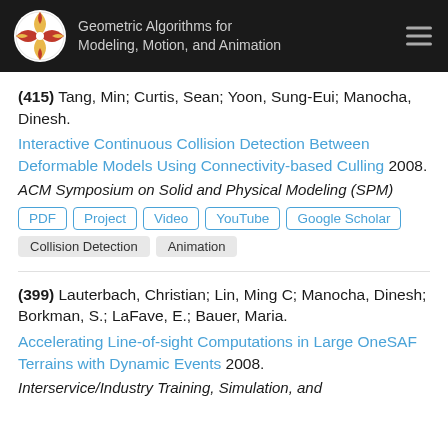Geometric Algorithms for Modeling, Motion, and Animation
(415) Tang, Min; Curtis, Sean; Yoon, Sung-Eui; Manocha, Dinesh. Interactive Continuous Collision Detection Between Deformable Models Using Connectivity-based Culling 2008. ACM Symposium on Solid and Physical Modeling (SPM)
PDF | Project | Video | YouTube | Google Scholar
Collision Detection | Animation
(399) Lauterbach, Christian; Lin, Ming C; Manocha, Dinesh; Borkman, S.; LaFave, E.; Bauer, Maria. Accelerating Line-of-sight Computations in Large OneSAF Terrains with Dynamic Events 2008. Interservice/Industry Training, Simulation, and